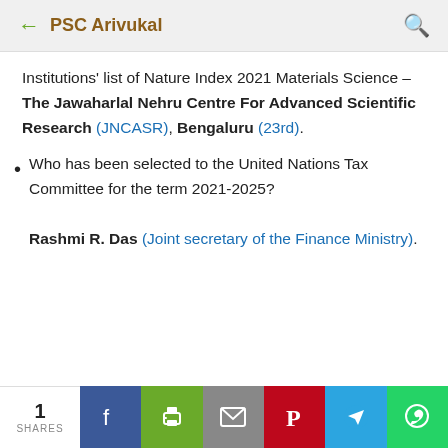PSC Arivukal
Institutions' list of Nature Index 2021 Materials Science – The Jawaharlal Nehru Centre For Advanced Scientific Research (JNCASR), Bengaluru (23rd).
Who has been selected to the United Nations Tax Committee for the term 2021-2025? Rashmi R. Das (Joint secretary of the Finance Ministry).
1 SHARES | Facebook | Print | Mail | Pinterest | Telegram | WhatsApp